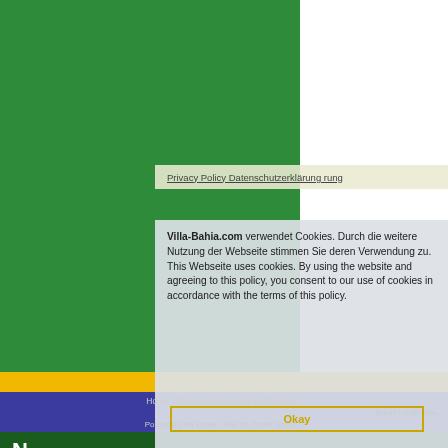[Figure (screenshot): Website screenshot of Villa-Bahia.com showing green and white layout with yellow and blue footer stripes, and a cookie consent modal dialog overlay in the lower center.]
Villa-Bahia.com verwendet Cookies. Durch die weitere Nutzung der Webseite stimmen Sie deren Verwendung zu. This Website uses cookies. By using the website and agreeing to this policy, you consent to our use of cookies in accordance with the terms of this policy.
Privacy Policy Datenschutzerklärung rung
Home | Sitemap | Facebook | Site Notic...
Okay
Email Info@Villa-...
Pousada Villa Bahia - Rue da Ponte Grand...